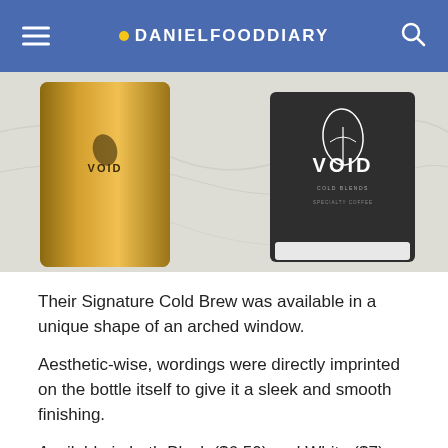DANIELFOODDIARY
[Figure (photo): Photo of VOID cold brew products: a gold/bronze glass bottle and a black paper cup with VOID branding, on a marble surface]
Their Signature Cold Brew was available in a unique shape of an arched window.
Aesthetic-wise, wordings were directly imprinted on the bottle itself to give it a sleek and smooth finishing.
Available in both Black ($6.50) and White ($7), a single origin coffee bean from Colombia was steeped for 17 hours to create their cold brew.